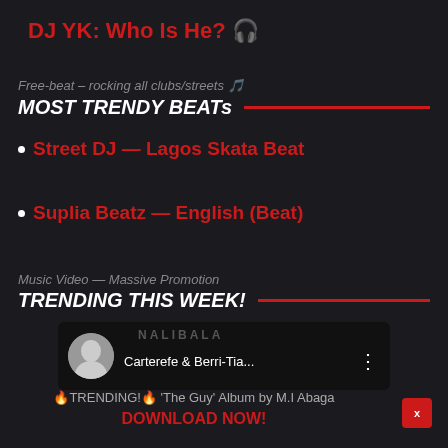DJ YK: Who Is He? 🎧
Free-beat – rocking all clubs/streets 🎵
MOST TRENDY BEATs
Street DJ — Lagos Skata Beat
Suplia Beatz — English (Beat)
Music Video — Massive Promotion
TRENDING THIS WEEK!
[Figure (screenshot): Music video thumbnail showing 'NALIBALA' text with avatar of person, channel name 'Carterefe & Berri-Tia...' and three-dot menu icon]
🔥TRENDING!🔥 'The Guy' Album by M.I Abaga
DOWNLOAD NOW!